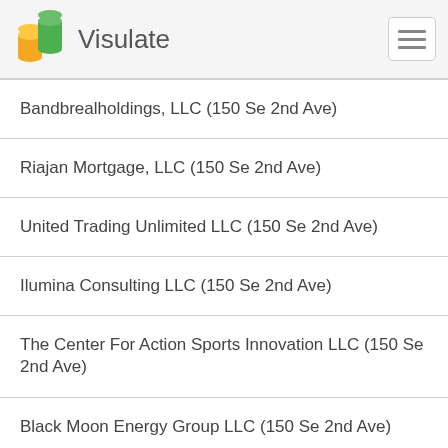Visulate
Bandbrealholdings, LLC (150 Se 2nd Ave)
Riajan Mortgage, LLC (150 Se 2nd Ave)
United Trading Unlimited LLC (150 Se 2nd Ave)
Ilumina Consulting LLC (150 Se 2nd Ave)
The Center For Action Sports Innovation LLC (150 Se 2nd Ave)
Black Moon Energy Group LLC (150 Se 2nd Ave)
Tytus LLC (150 Se 2nd Ave)
Estal Usa, Inc. (150 Se 2nd Ave)
Bh 150 Condominium Association, Inc. (150 Se 2 Ave Suite 1100)
Ally V LLC (150 Se 2nd Ave Ste 1200)